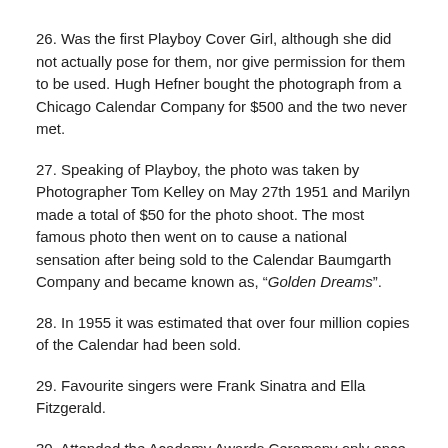26. Was the first Playboy Cover Girl, although she did not actually pose for them, nor give permission for them to be used. Hugh Hefner bought the photograph from a Chicago Calendar Company for $500 and the two never met.
27. Speaking of Playboy, the photo was taken by Photographer Tom Kelley on May 27th 1951 and Marilyn made a total of $50 for the photo shoot. The most famous photo then went on to cause a national sensation after being sold to the Calendar Baumgarth Company and became known as, “Golden Dreams”.
28. In 1955 it was estimated that over four million copies of the Calendar had been sold.
29. Favourite singers were Frank Sinatra and Ella Fitzgerald.
30. Attended the Academy Awards Ceremony only once on